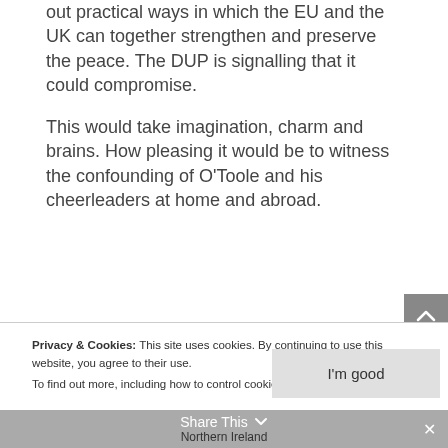out practical ways in which the EU and the UK can together strengthen and preserve the peace. The DUP is signalling that it could compromise.
This would take imagination, charm and brains. How pleasing it would be to witness the confounding of O'Toole and his cheerleaders at home and abroad.
Privacy & Cookies: This site uses cookies. By continuing to use this website, you agree to their use.
To find out more, including how to control cookies, see here: Cookie Policy
Share This  Northern Ireland